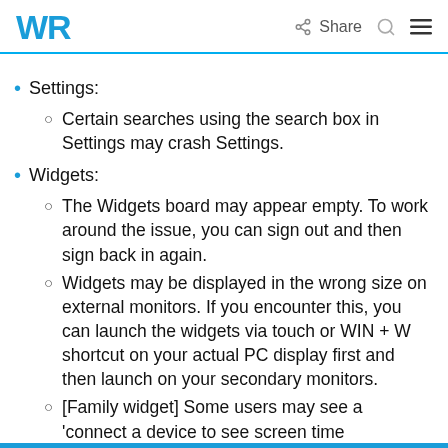WR  Share
Settings:
Certain searches using the search box in Settings may crash Settings.
Widgets:
The Widgets board may appear empty. To work around the issue, you can sign out and then sign back in again.
Widgets may be displayed in the wrong size on external monitors. If you encounter this, you can launch the widgets via touch or WIN + W shortcut on your actual PC display first and then launch on your secondary monitors.
[Family widget] Some users may see a 'connect a device to see screen time